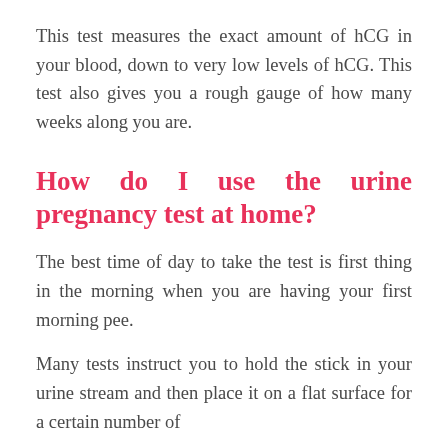This test measures the exact amount of hCG in your blood, down to very low levels of hCG. This test also gives you a rough gauge of how many weeks along you are.
How do I use the urine pregnancy test at home?
The best time of day to take the test is first thing in the morning when you are having your first morning pee.
Many tests instruct you to hold the stick in your urine stream and then place it on a flat surface for a certain number of